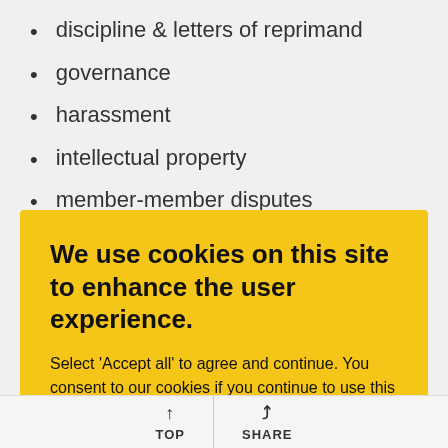discipline & letters of reprimand
governance
harassment
intellectual property
member-member disputes
sabbatical, medical, parental and other leaves
We use cookies on this site to enhance the user experience.
Select 'Accept all' to agree and continue. You consent to our cookies if you continue to use this website.
ACCEPT ALL
TOP   SHARE